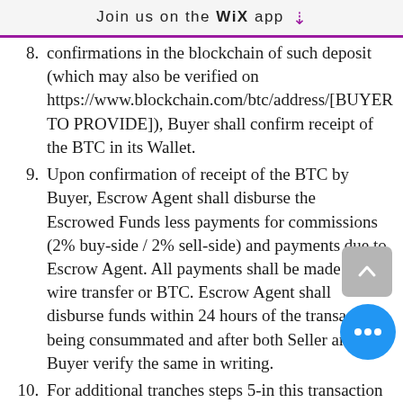Join us on the WiX app ↓
confirmations in the blockchain of such deposit (which may also be verified on https://www.blockchain.com/btc/address/[BUYER TO PROVIDE]), Buyer shall confirm receipt of the BTC in its Wallet.
Upon confirmation of receipt of the BTC by Buyer, Escrow Agent shall disburse the Escrowed Funds less payments for commissions (2% buy-side / 2% sell-side) and payments due to Escrow Agent. All payments shall be made via wire transfer or BTC. Escrow Agent shall disburse funds within 24 hours of the transaction being consummated and after both Seller and Buyer verify the same in writing.
For additional tranches steps 5-in this transaction procedure will be